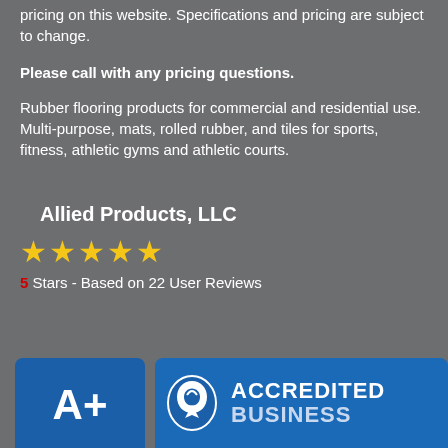pricing on this website. Specifications and pricing are subject to change.
Please call with any pricing questions.
Rubber flooring products for commercial and residential use. Multi-purpose, mats, rolled rubber, and tiles for sports, fitness, athletic gyms and athletic courts.
Allied Products, LLC
[Figure (other): Five gold star rating display]
5 Stars - Based on 22 User Reviews
[Figure (logo): BBB A+ rating badge and BBB Accredited Business logo]